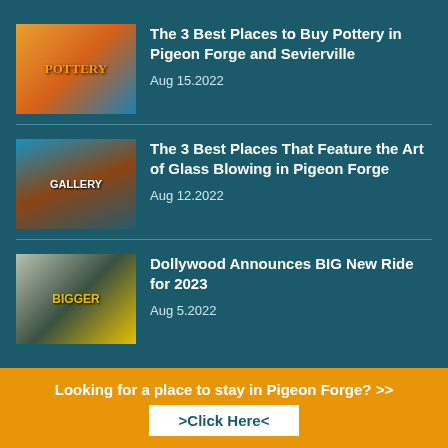[Figure (photo): Pottery shop sign with colorful decorations]
The 3 Best Places to Buy Pottery in Pigeon Forge and Sevierville
Aug 15.2022
[Figure (photo): Twisted Glass Gallery exterior sign with wood architecture]
The 3 Best Places That Feature the Art of Glass Blowing in Pigeon Forge
Aug 12.2022
[Figure (photo): Dollywood promotional image with BIGGER text]
Dollywood Announces BIG New Ride for 2023
Aug 5.2022
Looking for a place to stay in Pigeon Forge? >> >Click Here<